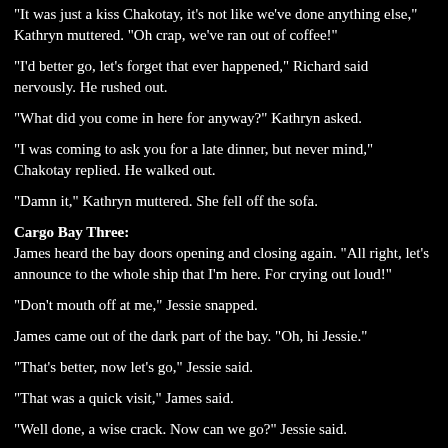"It was just a kiss Chakotay, it's not like we've done anything else," Kathryn muttered. "Oh crap, we've ran out of coffee!"
"I'd better go, let's forget that ever happened," Richard said nervously. He rushed out.
"What did you come in here for anyway?" Kathryn asked.
"I was coming to ask you for a late dinner, but never mind," Chakotay replied. He walked out.
"Damn it," Kathryn muttered. She fell off the sofa.
Cargo Bay Three:
James heard the bay doors opening and closing again. "All right, let's announce to the whole ship that I'm here. For crying out loud!"
"Don't mouth off at me," Jessie snapped.
James came out of the dark part of the bay. "Oh, hi Jessie."
"That's better, now let's go," Jessie said.
"That was a quick visit," James said.
"Well done, a wise crack. Now can we go?" Jessie said.